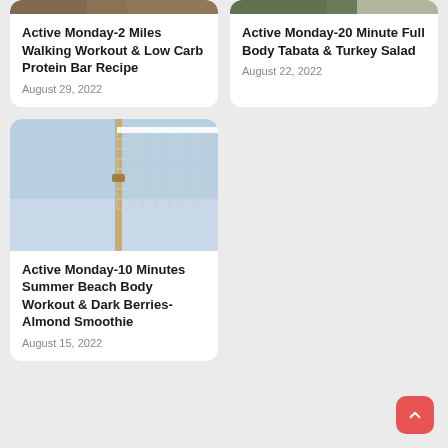[Figure (photo): Cropped photo of a person or food at top left card]
Active Monday-2 Miles Walking Workout & Low Carb Protein Bar Recipe
August 29, 2022
[Figure (photo): Cropped photo at top right card]
Active Monday-20 Minute Full Body Tabata & Turkey Salad
August 22, 2022
[Figure (photo): Beach volleyball net against blue sky]
Active Monday-10 Minutes Summer Beach Body Workout & Dark Berries-Almond Smoothie
August 15, 2022